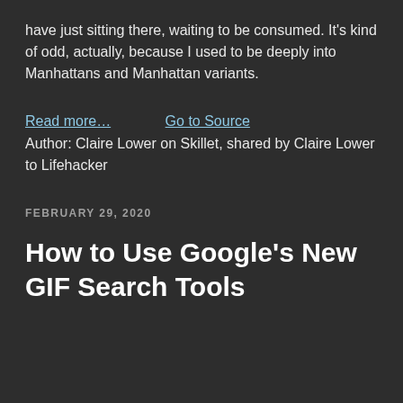have just sitting there, waiting to be consumed. It's kind of odd, actually, because I used to be deeply into Manhattans and Manhattan variants.
Read more…
Go to Source
Author: Claire Lower on Skillet, shared by Claire Lower to Lifehacker
FEBRUARY 29, 2020
How to Use Google's New GIF Search Tools